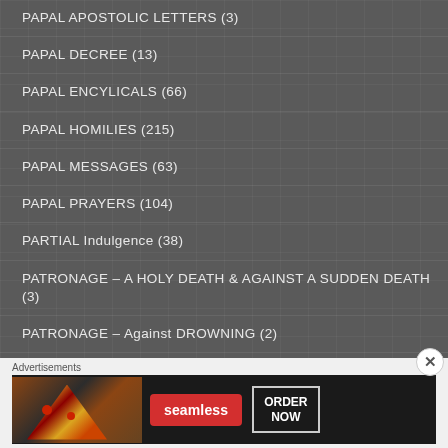PAPAL APOSTOLIC LETTERS (3)
PAPAL DECREE (13)
PAPAL ENCYLICALS (66)
PAPAL HOMILIES (215)
PAPAL MESSAGES (63)
PAPAL PRAYERS (104)
PARTIAL Indulgence (38)
PATRONAGE – A HOLY DEATH & AGAINST A SUDDEN DEATH (3)
PATRONAGE – Against DROWNING (2)
PATRONAGE – against EPIDEMICS (1)
Advertisements
[Figure (screenshot): Seamless food delivery advertisement banner showing pizza image, Seamless logo in red, and ORDER NOW button]